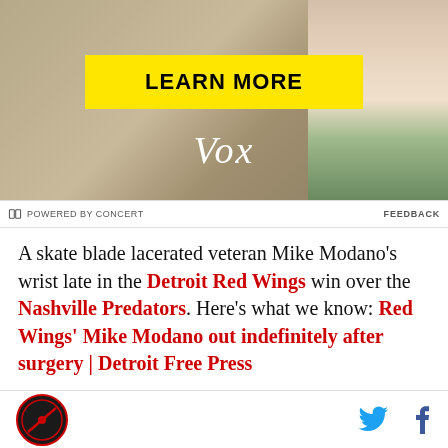[Figure (screenshot): Advertisement banner showing a yellow 'LEARN MORE' button, Vox logo in white italic text, on a tan/beige background with a person's arm visible on the right side.]
POWERED BY CONCERT    FEEDBACK
A skate blade lacerated veteran Mike Modano's wrist late in the Detroit Red Wings win over the Nashville Predators. Here's what we know: Red Wings' Mike Modano out indefinitely after surgery | Detroit Free Press
Up at the Consol Energy Center in
[site logo] [Twitter icon] [Facebook icon]